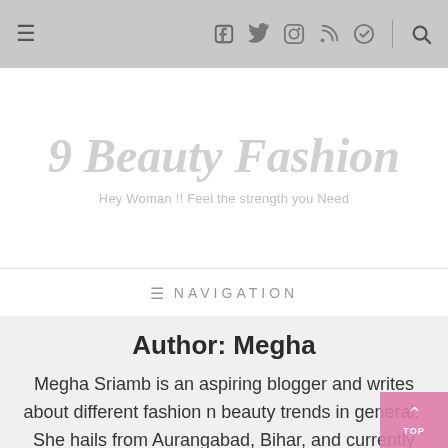≡  🔲 🐦 📷 ⌘ ✈  |  🔍
9 Beauty Fashion
Hey Woman !! Feel the strength you Need
≡ NAVIGATION
Author: Megha
Megha Sriamb is an aspiring blogger and writes about different fashion n beauty trends in general.  She hails from Aurangabad, Bihar, and currently lives in Gurgaon. She has a Bachelor's